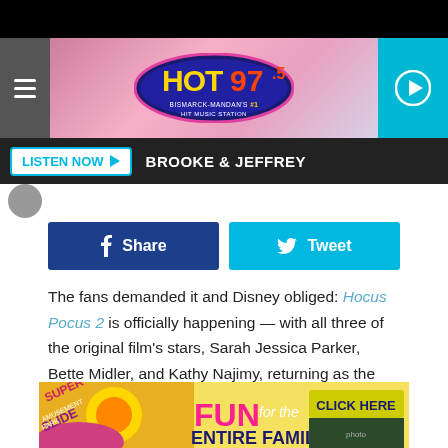[Figure (logo): HOT 97.5 Bismarck-Mandan's #1 Hit Music Station radio station logo in oval shape with pink/yellow/blue colors]
LISTEN NOW  BROOKE & JEFFREY
[Figure (infographic): Facebook Share button (dark blue) and Twitter Tweet button (light blue)]
The fans demanded it and Disney obliged: Hocus Pocus 2 is officially happening — with all three of the original film's stars, Sarah Jessica Parker, Bette Midler, and Kathy Najimy, returning as the witchy Sanderson Sisters.
Via press release, the studio confirmed that the long-rumored project is finally ready to begin production this fall.
[Figure (photo): Advertisement banner for Super Slide Amusement Park with colorful text: FUN for the ENTIRE FAMILY, CLICK HERE]